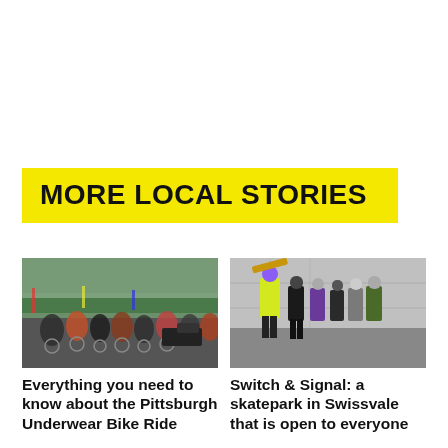MORE LOCAL STORIES
[Figure (photo): Crowd of cyclists riding together in the street during what appears to be the Pittsburgh Underwear Bike Ride event, with people in colorful minimal clothing]
Everything you need to know about the Pittsburgh Underwear Bike Ride
[Figure (photo): Group of skateboarders, including a woman in a yellow hoodie and purple helmet holding a skateboard above her head, standing in front of a concrete wall]
Switch & Signal: a skatepark in Swissvale that is open to everyone